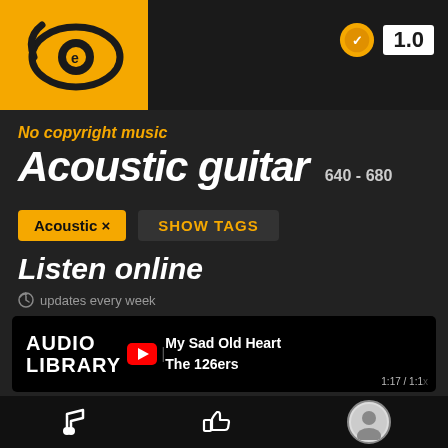[Figure (logo): Eye-shaped logo with 'e' letter on orange/yellow background]
[Figure (infographic): Gold coin icon with checkmark and '1.0' text label]
No copyright music
Acoustic guitar  640 - 680
Acoustic ×  SHOW TAGS
Listen online
updates every week
[Figure (screenshot): YouTube Audio Library video thumbnail showing 'My Sad Old Heart – The 126ers' with AUDIO LIBRARY logo and play button, timestamp 1:17/1:1x]
[Figure (infographic): Bottom navigation bar with music note icon, thumbs up icon, and headphone avatar icon]